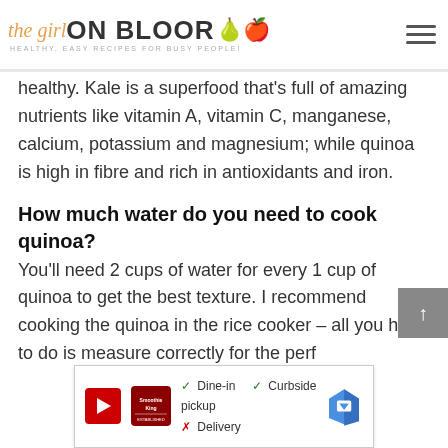the girl ON BLOOR — HEALTHY. EASY RECIPES FOR BUSY PEOPLE!
healthy. Kale is a superfood that's full of amazing nutrients like vitamin A, vitamin C, manganese, calcium, potassium and magnesium; while quinoa is high in fibre and rich in antioxidants and iron.
How much water do you need to cook quinoa?
You'll need 2 cups of water for every 1 cup of quinoa to get the best texture. I recommend cooking the quinoa in the rice cooker – all you have to do is measure correctly for the perfect
[Figure (screenshot): Advertisement overlay showing restaurant options: Dine-in (checkmark), Curbside pickup (checkmark), Delivery (X mark), with Smoothie King logo and Google Maps navigation icon]